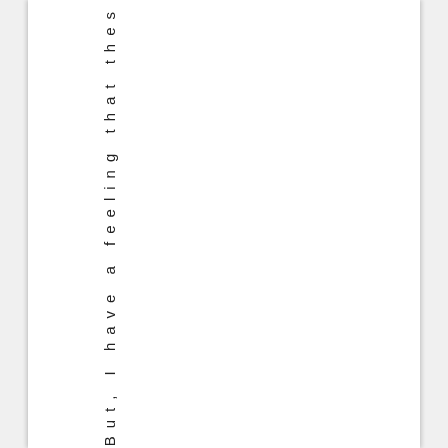But, I have a feeling that the s